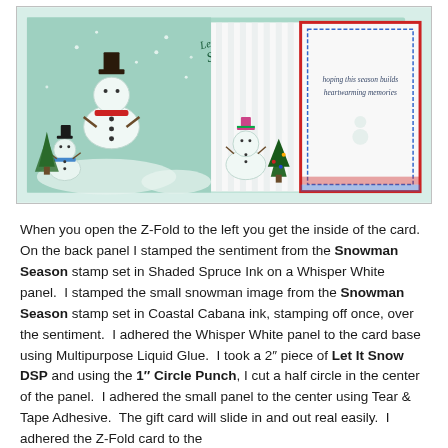[Figure (photo): Photo of an open Z-Fold greeting card with snowman illustrations on a teal/mint background. The card features multiple snowman images, Christmas trees, and a back panel with cursive text reading 'hoping this season builds heartwarming memories' on a white panel with red and blue borders.]
When you open the Z-Fold to the left you get the inside of the card.  On the back panel I stamped the sentiment from the Snowman Season stamp set in Shaded Spruce Ink on a Whisper White panel.  I stamped the small snowman image from the Snowman Season stamp set in Coastal Cabana ink, stamping off once, over the sentiment.  I adhered the Whisper White panel to the card base using Multipurpose Liquid Glue.  I took a 2" piece of Let It Snow DSP and using the 1" Circle Punch, I cut a half circle in the center of the panel.  I adhered the small panel to the center using Tear & Tape Adhesive.  The gift card will slide in and out real easily.  I adhered the Z-Fold card to the